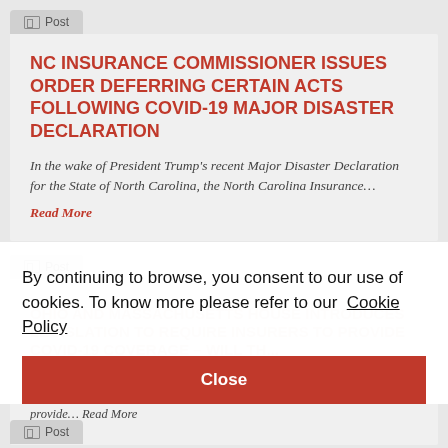Post
NC INSURANCE COMMISSIONER ISSUES ORDER DEFERRING CERTAIN ACTS FOLLOWING COVID-19 MAJOR DISASTER DECLARATION
In the wake of President Trump's recent Major Disaster Declaration for the State of North Carolina, the North Carolina Insurance…
Read More
Post
OHIO AND MASSACHUSETTS HOUSE INTRODUCES LEGISLATION TO REQUIRE INSURERS TO PROVIDE COVID-19 COVERAGE – WILL THE...
Ohio and Massachusetts have followed New Jersey's lead in attempting to push through legislation that would force insurers to provide… Read More
By continuing to browse, you consent to our use of cookies. To know more please refer to our Cookie Policy
Close
Post